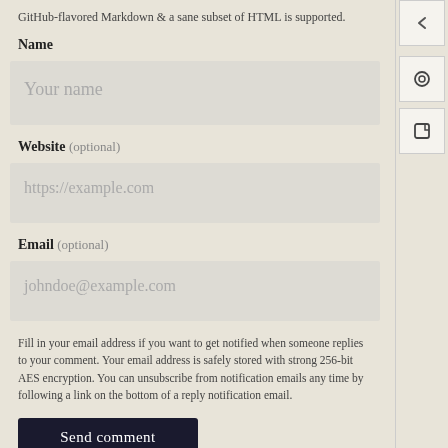GitHub-flavored Markdown & a sane subset of HTML is supported.
Name
Your name
Website (optional)
https://example.com
Email (optional)
johndoe@example.com
Fill in your email address if you want to get notified when someone replies to your comment. Your email address is safely stored with strong 256-bit AES encryption. You can unsubscribe from notification emails any time by following a link on the bottom of a reply notification email.
Send comment